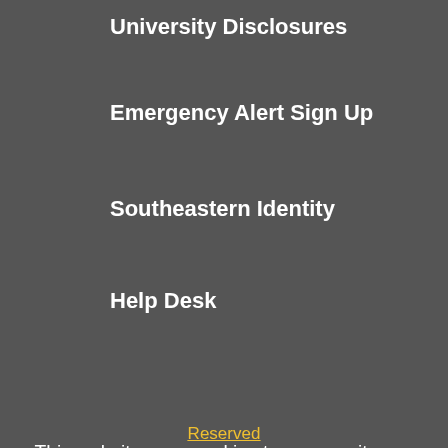University Disclosures
Emergency Alert Sign Up
Southeastern Identity
Help Desk
This website uses cookies to ensure site visitors enjoy the best experience. By continuing to use this site, you accept our use of cookies and Privacy Statement. To learn more, please visit Southeastern Privacy Statement.
I agree
Reserved